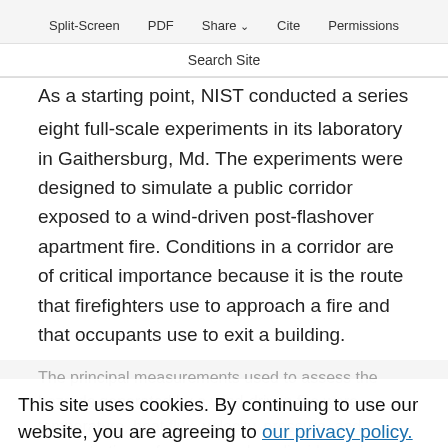Split-Screen  PDF  Share  Cite  Permissions
Search Site
As a starting point, NIST conducted a series of eight full-scale experiments in its laboratory in Gaithersburg, Md. The experiments were designed to simulate a public corridor exposed to a wind-driven post-flashover apartment fire. Conditions in a corridor are of critical importance because it is the route that firefighters use to approach a fire and that occupants use to exit a building.
The principal measurements used to assess the hazards generated by a wind-driven fire were temperature, heat flux, velocity, pressure, and concentrations of oxygen, carbon dioxide, carbon
This site uses cookies. By continuing to use our website, you are agreeing to our privacy policy. Accept